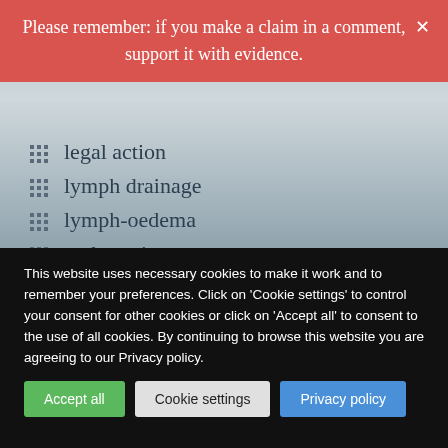Please remember: if you make a claim in a comment, support it with evidence.
legal action
lymph drainage
lymph-oedema
malpractice
marijuana
massage
medical ethics
menopause
meta-analysis
methodology
This website uses necessary cookies to make it work and to remember your preferences. Click on 'Cookie settings' to control your consent for other cookies or click on 'Accept all' to consent to the use of all cookies. By continuing to browse this website you are agreeing to our Privacy policy.